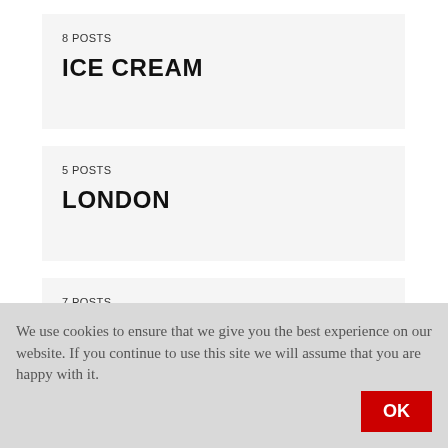8 POSTS
ICE CREAM
5 POSTS
LONDON
7 POSTS
MAIN DISHES
We use cookies to ensure that we give you the best experience on our website. If you continue to use this site we will assume that you are happy with it.